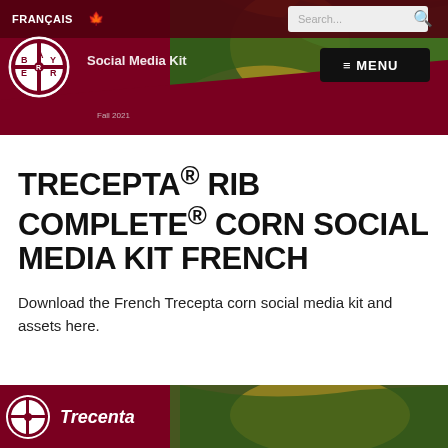FRANÇAIS | Social Media Kit | Fall 2021
[Figure (screenshot): Bayer website header with dark red background, Bayer circular logo on left, navigation bar with FRANÇAIS and maple leaf, search box, MENU button, and hero image of corn/green plant with red diagonal overlay]
TRECEPTA® RIB COMPLETE® CORN SOCIAL MEDIA KIT FRENCH
Download the French Trecepta corn social media kit and assets here.
[Figure (screenshot): Bottom strip showing Bayer logo and Trecenta branding on dark red background with corn imagery]